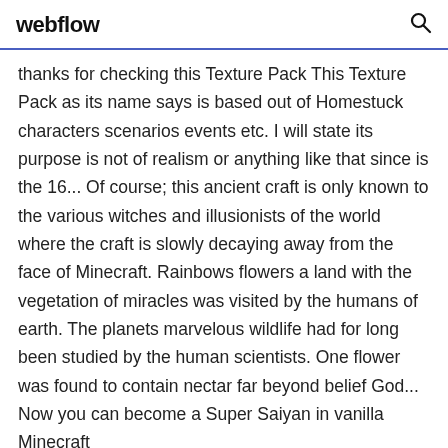webflow
thanks for checking this Texture Pack This Texture Pack as its name says is based out of Homestuck characters scenarios events etc. I will state its purpose is not of realism or anything like that since is the 16... Of course; this ancient craft is only known to the various witches and illusionists of the world where the craft is slowly decaying away from the face of Minecraft. Rainbows flowers a land with the vegetation of miracles was visited by the humans of earth. The planets marvelous wildlife had for long been studied by the human scientists. One flower was found to contain nectar far beyond belief God... Now you can become a Super Saiyan in vanilla Minecraft